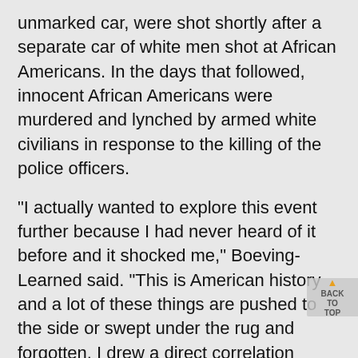unmarked car, were shot shortly after a separate car of white men shot at African Americans. In the days that followed, innocent African Americans were murdered and lynched by armed white civilians in response to the killing of the police officers.

"I actually wanted to explore this event further because I had never heard of it before and it shocked me," Boeving-Learned said. "This is American history and a lot of these things are pushed to the side or swept under the rug and forgotten. I drew a direct correlation between a lot of the things that have happened in the last few years with policing and Black communities (and what happened those 100-some years ago). It just shows me that not a lot has changed and I think that's because we're not being honest about our history. We can't learn from history if we're not honest about it."

Other topics in the Black History Matters journal include the Tulsa race massacre, slavery in Pennsylvania, the effects of sexually objectifying Black women and an essay about Black cowboys. As the editor of the journal, Ford selected the